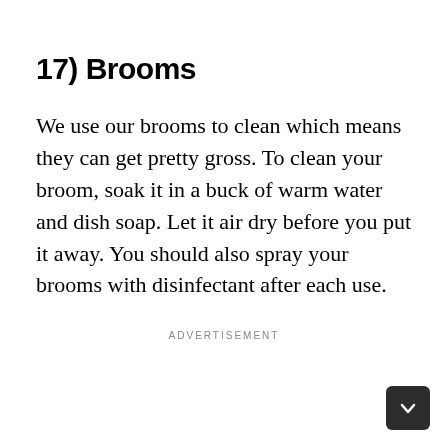17) Brooms
We use our brooms to clean which means they can get pretty gross. To clean your broom, soak it in a buck of warm water and dish soap. Let it air dry before you put it away. You should also spray your brooms with disinfectant after each use.
ADVERTISEMENT